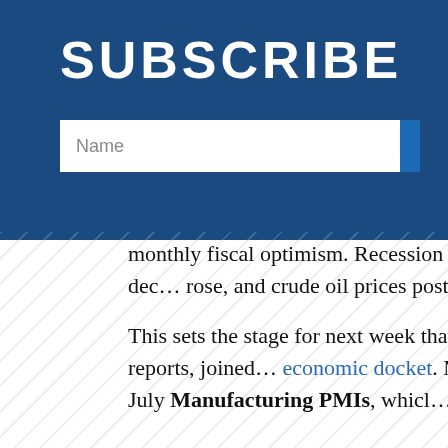SUBSCRIBE
[Figure (other): Name input field with white background on dark blue banner]
...monthly fiscal optimism. Recession fears continued to dampen yields, the U.S. dollar declined, gold rose, and crude oil prices posted a second-stra...
This sets the stage for next week that will see Conf... continue to deliver a plethora of reports, joined by the economic docket. Markit and ISM will get the ball rolling releasing their July Manufacturing PMIs, which... by their respective Services PMIs later in the...